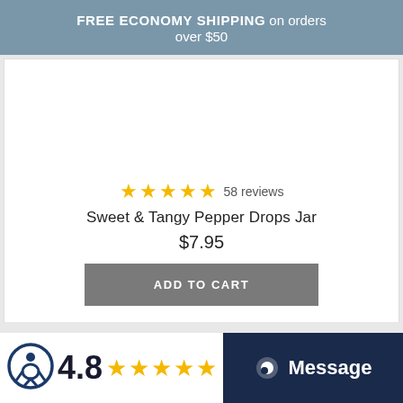FREE ECONOMY SHIPPING on orders over $50
[Figure (other): Product image area (blank/white space for product photo)]
58 reviews (4.5 stars)
Sweet & Tangy Pepper Drops Jar
$7.95
ADD TO CART
Carousel navigation dots (1 active, 4 inactive)
4.8 (5 stars) Bas...
Message